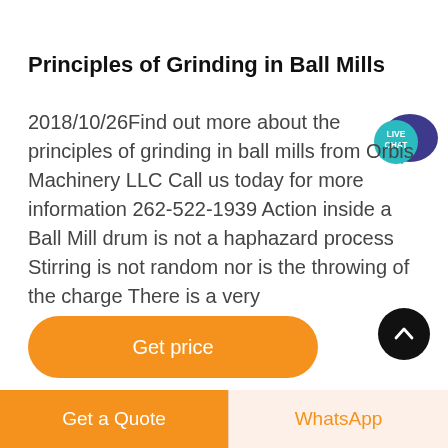Principles of Grinding in Ball Mills
2018/10/26Find out more about the principles of grinding in ball mills from Orbis Machinery LLC Call us today for more information 262-522-1939 Action inside a Ball Mill drum is not a haphazard process Stirring is not random nor is the throwing of the charge There is a very
[Figure (other): Live Chat widget bubble icon with teal circle labeled LIVE CHAT and dark blue speech bubble]
[Figure (other): Orange rounded rectangle button labeled Get price]
[Figure (other): Black circular scroll-up button with white chevron arrow pointing up]
Get a Quote   WhatsApp